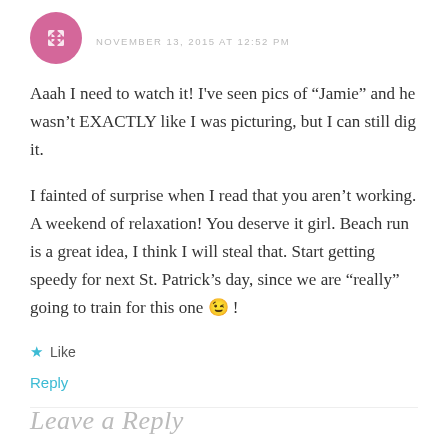NOVEMBER 13, 2015 AT 12:52 PM
Aaah I need to watch it! I've seen pics of “Jamie” and he wasn’t EXACTLY like I was picturing, but I can still dig it.
I fainted of surprise when I read that you aren’t working. A weekend of relaxation! You deserve it girl. Beach run is a great idea, I think I will steal that. Start getting speedy for next St. Patrick’s day, since we are “really” going to train for this one 😉 !
Like
Reply
Leave a Reply